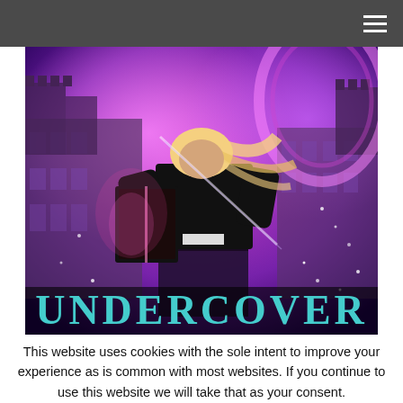Navigation menu (hamburger icon)
[Figure (illustration): Book cover for 'Undercover' — a young woman with blonde hair in a black leather jacket holds an open glowing book, with a grand castle building in the background bathed in purple/magenta light with sparkles. The title 'UNDERCOVER' is displayed at the bottom in large teal letters.]
This website uses cookies with the sole intent to improve your experience as is common with most websites. If you continue to use this website we will take that as your consent.
OK   Reject   Read More   Follow